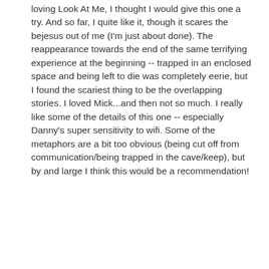loving Look At Me, I thought I would give this one a try. And so far, I quite like it, though it scares the bejesus out of me (I'm just about done). The reappearance towards the end of the same terrifying experience at the beginning -- trapped in an enclosed space and being left to die was completely eerie, but I found the scariest thing to be the overlapping stories. I loved Mick...and then not so much. I really like some of the details of this one -- especially Danny's super sensitivity to wifi. Some of the metaphors are a bit too obvious (being cut off from communication/being trapped in the cave/keep), but by and large I think this would be a recommendation!